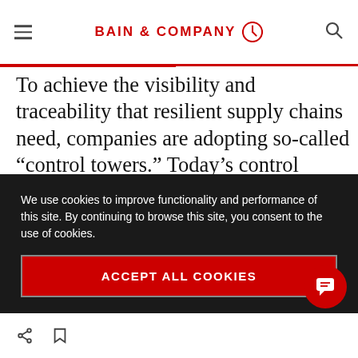BAIN & COMPANY
To achieve the visibility and traceability that resilient supply chains need, companies are adopting so-called “control towers.” Today’s control tower solutions range widely in technical sophistication. Some provide real-time data across the full supply chain and can predict sub-optimal events or disruptions, while less
We use cookies to improve functionality and performance of this site. By continuing to browse this site, you consent to the use of cookies.
ACCEPT ALL COOKIES